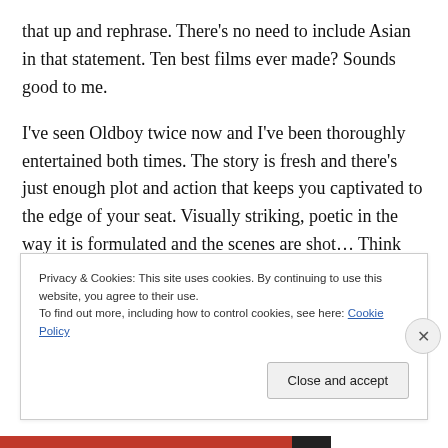that up and rephrase. There's no need to include Asian in that statement. Ten best films ever made? Sounds good to me.
I've seen Oldboy twice now and I've been thoroughly entertained both times. The story is fresh and there's just enough plot and action that keeps you captivated to the edge of your seat. Visually striking, poetic in the way it is formulated and the scenes are shot… Think about the snazziest guy you know that does things in such an elegant way and give him a beat-up haircut and a
Privacy & Cookies: This site uses cookies. By continuing to use this website, you agree to their use.
To find out more, including how to control cookies, see here: Cookie Policy